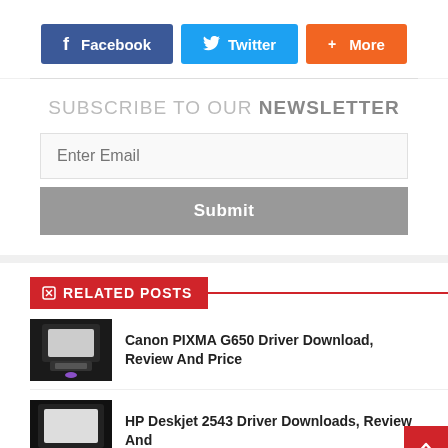[Figure (screenshot): Social share buttons: Facebook (blue), Twitter (cyan), More (orange)]
SUBSCRIBE TO OUR NEWSLETTER
Enter Email
Submit
RELATED POSTS
Canon PIXMA G650 Driver Download, Review And Price
HP Deskjet 2543 Driver Downloads, Review And